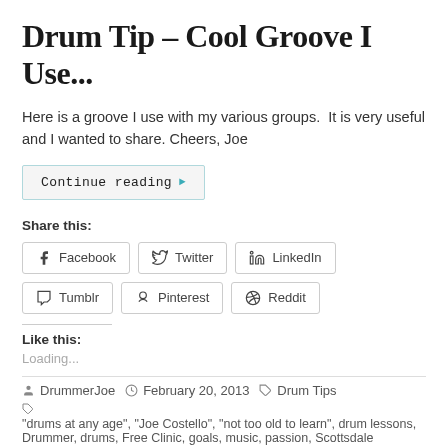Drum Tip – Cool Groove I Use...
Here is a groove I use with my various groups.  It is very useful and I wanted to share. Cheers, Joe
Continue reading ▶
Share this:
Facebook  Twitter  LinkedIn  Tumblr  Pinterest  Reddit
Like this:
Loading...
DrummerJoe  February 20, 2013  Drum Tips
"drums at any age", "Joe Costello", "not too old to learn", drum lessons, Drummer, drums, Free Clinic, goals, music, passion, Scottsdale